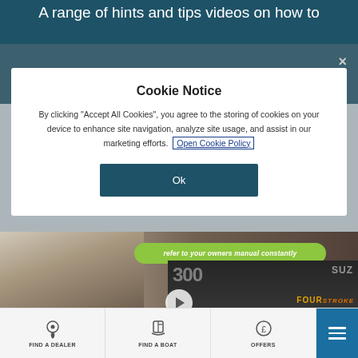A range of hints and tips videos on how to
[Figure (screenshot): Cookie consent modal dialog overlaid on a dark teal website background. The modal has a white box with 'Cookie Notice' heading, body text about accepting cookies, an 'Open Cookie Policy' link, and an 'Ok' button. A close (×) button appears top-right.]
[Figure (screenshot): Video thumbnail showing an elderly man with glasses looking down, a Suzuki outboard motor in the background, and a green oval banner reading 'refer to your owners manual constantly'. A play button is partially visible at the bottom.]
[Figure (screenshot): Bottom navigation bar with icons and labels: FIND A DEALER (location pin icon), FIND A BOAT (boat icon), OFFERS (pound symbol icon), and a blue hamburger menu button on the right.]